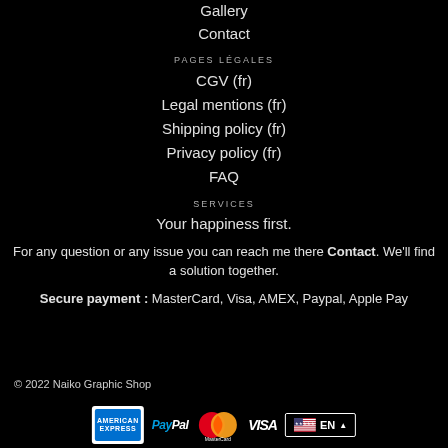Gallery
Contact
PAGES LÉGALES
CGV (fr)
Legal mentions (fr)
Shipping policy (fr)
Privacy policy (fr)
FAQ
SERVICES
Your happiness first.
For any question or any issue you can reach me there Contact. We'll find a solution together.
Secure payment : MasterCard, Visa, AMEX, Paypal, Apple Pay
© 2022 Naiko Graphic Shop
[Figure (logo): Payment method logos: American Express, PayPal, MasterCard, Visa, and EN language selector]